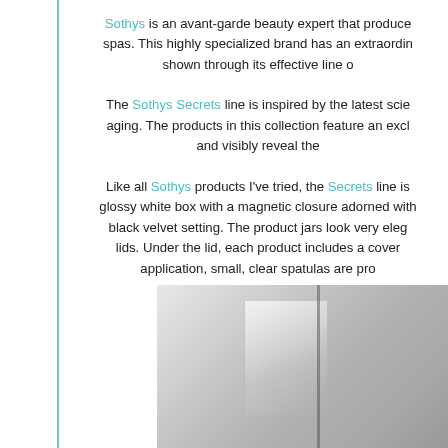Sothys is an avant-garde beauty expert that produces products for spas. This highly specialized brand has an extraordinary expertise, shown through its effective line o
The Sothys Secrets line is inspired by the latest science of anti-aging. The products in this collection feature an exclusive formula and visibly reveal the
Like all Sothys products I've tried, the Secrets line is glossy white box with a magnetic closure adorned with black velvet setting. The product jars look very eleg lids. Under the lid, each product includes a cover application, small, clear spatulas are pro
[Figure (photo): Photograph of a glossy white product box or jar packaging against a light grey background]